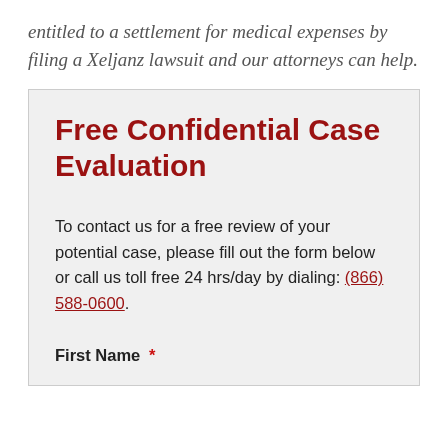entitled to a settlement for medical expenses by filing a Xeljanz lawsuit and our attorneys can help.
Free Confidential Case Evaluation
To contact us for a free review of your potential case, please fill out the form below or call us toll free 24 hrs/day by dialing: (866) 588-0600.
First Name *